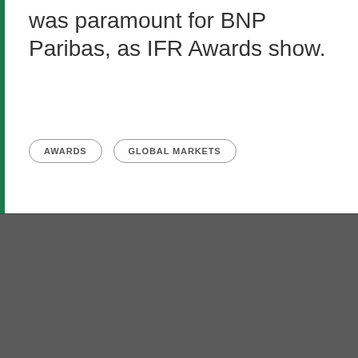was paramount for BNP Paribas, as IFR Awards show.
AWARDS
GLOBAL MARKETS
Cookies
BNP Paribas would like to use cookies placed by us or by partners on this website. By continuing to use our website you accept the use of these cookies. Please see our cookie policy for more information and / or access cookies settings for more details on those cookies. Cookies Policy